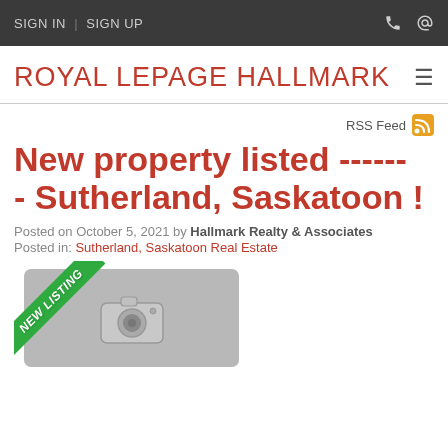SIGN IN | SIGN UP
ROYAL LEPAGE HALLMARK
RSS Feed
New property listed ------ - Sutherland, Saskatoon !
Posted on October 5, 2021 by Hallmark Realty & Associates
Posted in: Sutherland, Saskatoon Real Estate
[Figure (photo): Property listing image placeholder with camera icon and green New Listing ribbon badge]